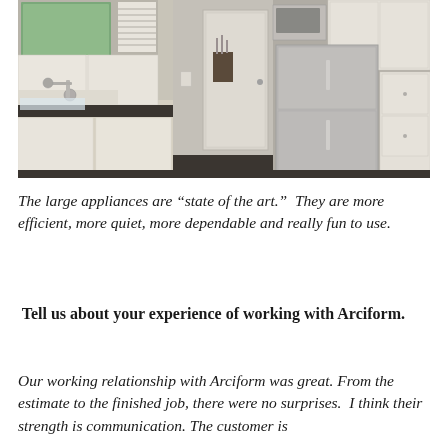[Figure (photo): Interior kitchen photo showing white cabinets, dark countertops, a vintage-style faucet over a sink on the left, knife block and appliances on the counter, a doorway in the center-back, and a stainless steel refrigerator on the right side.]
The large appliances are “state of the art.”  They are more efficient, more quiet, more dependable and really fun to use.
Tell us about your experience of working with Arciform.
Our working relationship with Arciform was great. From the estimate to the finished job, there were no surprises.  I think their strength is communication. The customer is